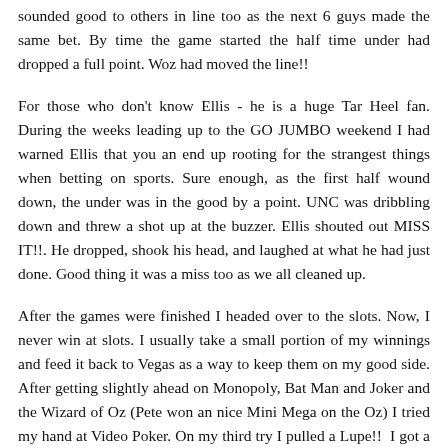sounded good to others in line too as the next 6 guys made the same bet. By time the game started the half time under had dropped a full point. Woz had moved the line!!
For those who don't know Ellis - he is a huge Tar Heel fan. During the weeks leading up to the GO JUMBO weekend I had warned Ellis that you an end up rooting for the strangest things when betting on sports. Sure enough, as the first half wound down, the under was in the good by a point. UNC was dribbling down and threw a shot up at the buzzer. Ellis shouted out MISS IT!!. He dropped, shook his head, and laughed at what he had just done. Good thing it was a miss too as we all cleaned up.
After the games were finished I headed over to the slots. Now, I never win at slots. I usually take a small portion of my winnings and feed it back to Vegas as a way to keep them on my good side. After getting slightly ahead on Monopoly, Bat Man and Joker and the Wizard of Oz (Pete won an nice Mini Mega on the Oz) I tried my hand at Video Poker. On my third try I pulled a Lupe!!  I got a royal straight flush! That thing was whirring and binging for a good 10 minutes. Hugh came over, started laughing and took a team picture all the while the score kept